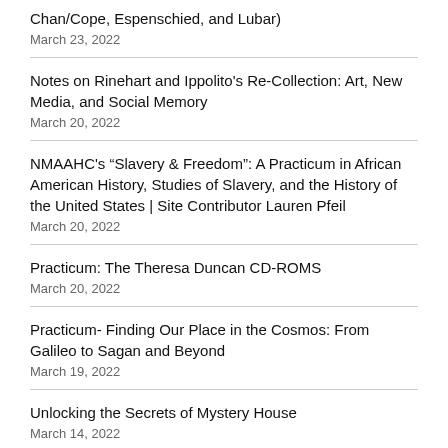Chan/Cope, Espenschied, and Lubar)
March 23, 2022
Notes on Rinehart and Ippolito's Re-Collection: Art, New Media, and Social Memory
March 20, 2022
NMAAHC's “Slavery & Freedom”: A Practicum in African American History, Studies of Slavery, and the History of the United States | Site Contributor Lauren Pfeil
March 20, 2022
Practicum: The Theresa Duncan CD-ROMS
March 20, 2022
Practicum- Finding Our Place in the Cosmos: From Galileo to Sagan and Beyond
March 19, 2022
Unlocking the Secrets of Mystery House
March 14, 2022